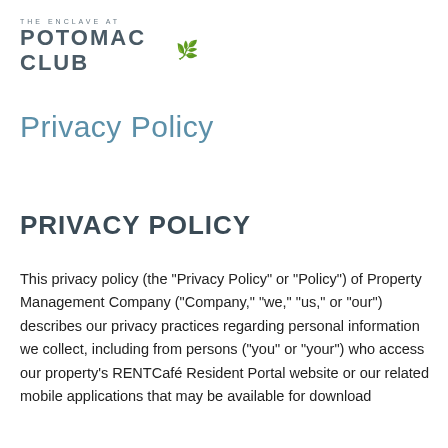[Figure (logo): The Enclave at Potomac Club logo with leaf icon]
Privacy Policy
PRIVACY POLICY
This privacy policy (the "Privacy Policy" or "Policy") of Property Management Company ("Company," "we," "us," or "our") describes our privacy practices regarding personal information we collect, including from persons ("you" or "your") who access our property's RENTCafé Resident Portal website or our related mobile applications that may be available for download